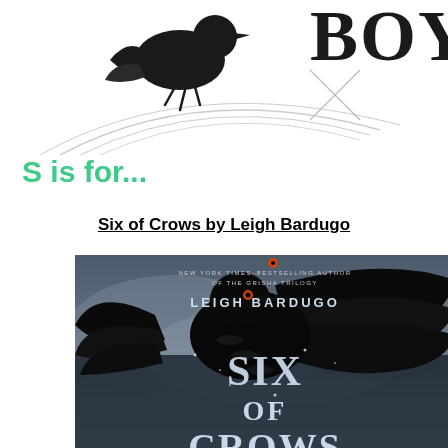[Figure (illustration): Top portion of a book cover showing 'BOYS' text with a crow/raven illustration and decorative swirling lines, in black and grey on white background]
S is for...
Six of Crows by Leigh Bardugo
[Figure (photo): Book cover of 'Six of Crows' by Leigh Bardugo. Dark cover showing a large black crow/raven with spread wings against a misty blue-grey background. Text reads 'NEW YORK TIMES-BESTSELLING AUTHOR OF THE GRISHA TRILOGY', 'LEIGH BARDUGO', 'SIX OF CROWS' in decorative lettering.]